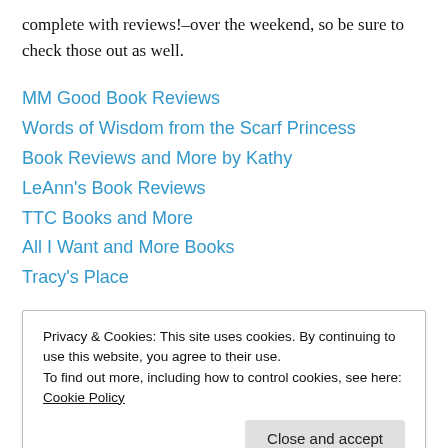complete with reviews!–over the weekend, so be sure to check those out as well.
MM Good Book Reviews
Words of Wisdom from the Scarf Princess
Book Reviews and More by Kathy
LeAnn's Book Reviews
TTC Books and More
All I Want and More Books
Tracy's Place
Privacy & Cookies: This site uses cookies. By continuing to use this website, you agree to their use. To find out more, including how to control cookies, see here: Cookie Policy
book. Others can be found in the excerpts that have been